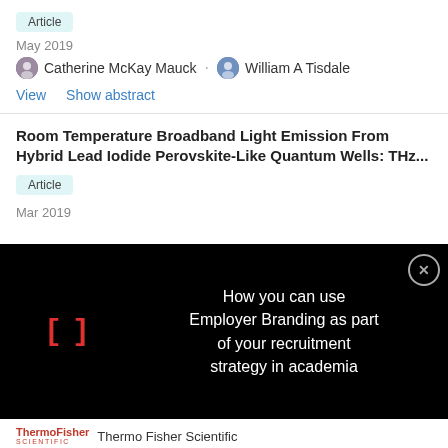Article
May 2019
Catherine McKay Mauck · William A Tisdale
View   Show abstract
Room Temperature Broadband Light Emission From Hybrid Lead Iodide Perovskite-Like Quantum Wells: THz...
Article
Mar 2019
[Figure (screenshot): Black overlay advertisement banner: red bracket icon on left, white text 'How you can use Employer Branding as part of your recruitment strategy in academia', close button top right]
Thermo Fisher Scientific
Webinar - mRNA Vaccines: Development, Manufacturing, and How NanoDrop Eight Can Help
Online event   On demand